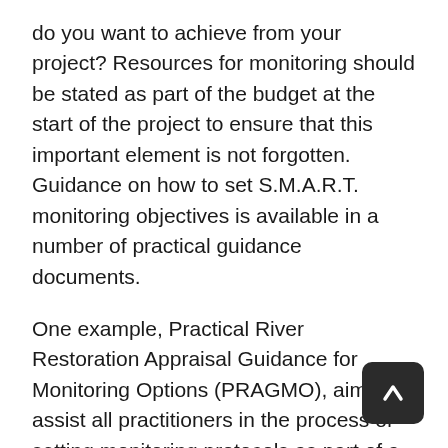do you want to achieve from your project? Resources for monitoring should be stated as part of the budget at the start of the project to ensure that this important element is not forgotten. Guidance on how to set S.M.A.R.T. monitoring objectives is available in a number of practical guidance documents.
One example, Practical River Restoration Appraisal Guidance for Monitoring Options (PRAGMO), aims to assist all practitioners in the process of setting monitoring protocols as part of a river restoration project. PRAGMO includes monitoring strategies intended to support technical staff working for competent authorities, consultancies and academic institutions as well as organisations with limited funds, which may need to demonstrate success to